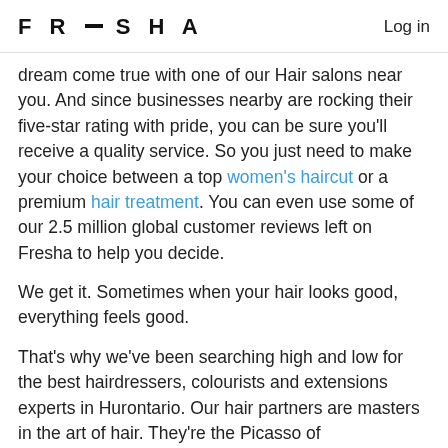FRESHA   Log in
dream come true with one of our Hair salons near you. And since businesses nearby are rocking their five-star rating with pride, you can be sure you'll receive a quality service. So you just need to make your choice between a top women's haircut or a premium hair treatment. You can even use some of our 2.5 million global customer reviews left on Fresha to help you decide.
We get it. Sometimes when your hair looks good, everything feels good.
That's why we've been searching high and low for the best hairdressers, colourists and extensions experts in Hurontario. Our hair partners are masters in the art of hair. They're the Picasso of